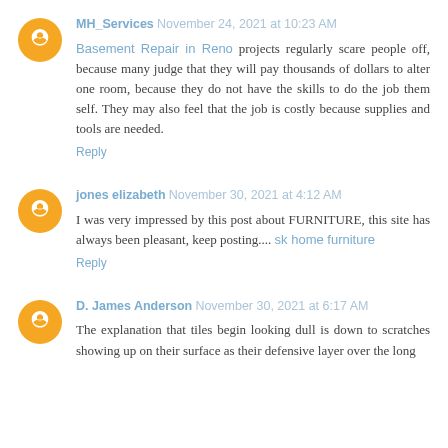MH_Services November 24, 2021 at 10:23 AM
Basement Repair in Reno projects regularly scare people off, because many judge that they will pay thousands of dollars to alter one room, because they do not have the skills to do the job them self. They may also feel that the job is costly because supplies and tools are needed.
Reply
jones elizabeth November 30, 2021 at 4:12 AM
I was very impressed by this post about FURNITURE, this site has always been pleasant, keep posting.... sk home furniture
Reply
D. James Anderson November 30, 2021 at 6:17 AM
The explanation that tiles begin looking dull is down to scratches showing up on their surface as their defensive layer over the long